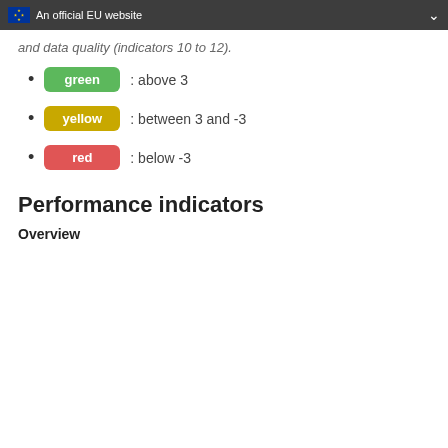An official EU website
and data quality (indicators 10 to 12).
green : above 3
yellow : between 3 and -3
red : below -3
Performance indicators
Overview